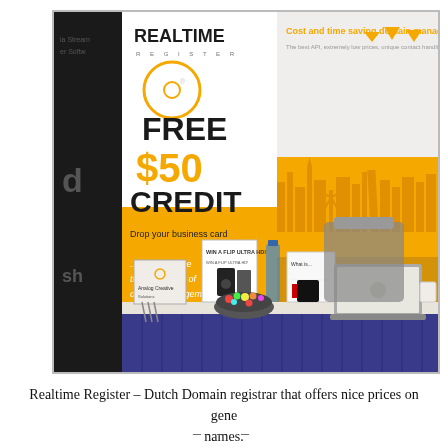[Figure (photo): Photo of a trade show booth for Realtime Register, a Dutch Domain registrar. The booth features a tall pull-up banner with the Realtime Register logo, 'FREE $50 CREDIT' text, 'Drop your business card' and '...to experience the smart way of domain management!' A large backdrop shows 'Cost and time saving domain management' with an orange skyline cityscape silhouette. A table in front has promotional materials, a laptop, water bottles, a bowl of candy, and other items. The table has a blue skirting.]
Realtime Register – Dutch Domain registrar that offers nice prices on generic names.